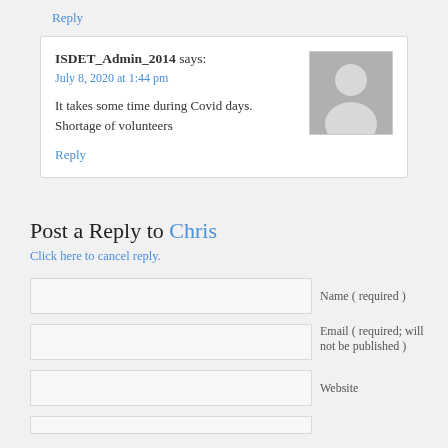Reply
ISDET_Admin_2014 says: July 8, 2020 at 1:44 pm
It takes some time during Covid days. Shortage of volunteers
Reply
Post a Reply to Chris
Click here to cancel reply.
Name ( required )
Email ( required; will not be published )
Website